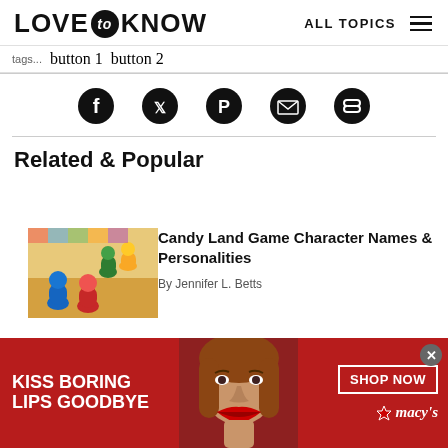LOVE to KNOW   ALL TOPICS
[Figure (infographic): Social sharing icons: Facebook, Twitter, Pinterest, Email, Link]
Related & Popular
[Figure (photo): Colorful board game pieces (blue, red, green, yellow meeples) on Candy Land board]
Candy Land Game Character Names & Personalities
By Jennifer L. Betts
[Figure (photo): Hand moving chess piece on chess board]
7 Famous Opening Chess Moves: Your Path to Victory
By Meera C...
[Figure (advertisement): Macy's advertisement banner: KISS BORING LIPS GOODBYE. Woman with red lips. SHOP NOW button. Macy's star logo.]